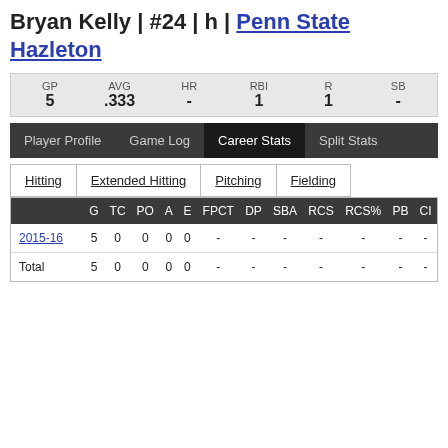Bryan Kelly | #24 | h | Penn State Hazleton
| GP | AVG | HR | RBI | R | SB |
| --- | --- | --- | --- | --- | --- |
| 5 | .333 | - | 1 | 1 | - |
Player Profile | Game Log | Career Stats | Split Stats
Hitting | Extended Hitting | Pitching | Fielding
|  | G | TC | PO | A | E | FPCT | DP | SBA | RCS | RCS% | PB | CI |
| --- | --- | --- | --- | --- | --- | --- | --- | --- | --- | --- | --- | --- |
| 2015-16 | 5 | 0 | 0 | 0 | 0 | - | - | - | - | - | - | - |
| Total | 5 | 0 | 0 | 0 | 0 | - | - | - | - | - | - | - |